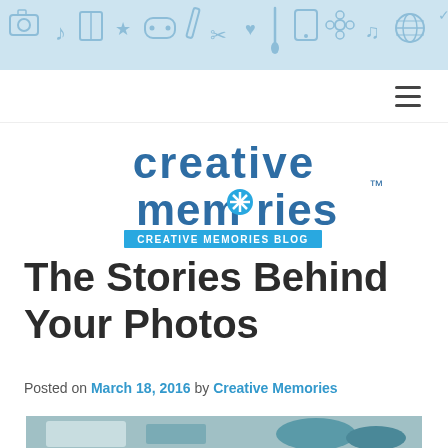[Figure (illustration): Light blue decorative banner with hand-drawn style icons including cameras, music notes, books, game controllers, and other creative/tech items]
[Figure (logo): Creative Memories logo — dark blue text 'creative memories' with a snowflake/asterisk replacing the 'o' in memories, with a blue ribbon banner reading 'CREATIVE MEMORIES BLOG']
The Stories Behind Your Photos
Posted on March 18, 2016 by Creative Memories
[Figure (photo): Partial photo visible at bottom of page showing what appears to be a scrapbook or photo album on a wooden table]